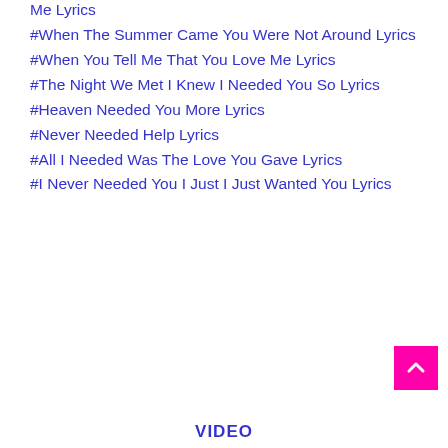Me Lyrics
#When The Summer Came You Were Not Around Lyrics
#When You Tell Me That You Love Me Lyrics
#The Night We Met I Knew I Needed You So Lyrics
#Heaven Needed You More Lyrics
#Never Needed Help Lyrics
#All I Needed Was The Love You Gave Lyrics
#I Never Needed You I Just I Just Wanted You Lyrics
VIDEO